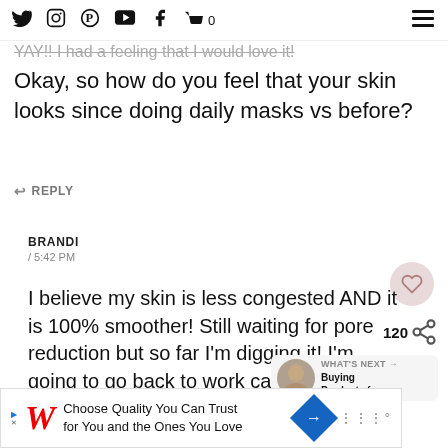Twitter, Instagram, Pinterest, YouTube, Facebook, Cart 0 | Menu
YAY!! I had a feeling that I would love it!
Okay, so how do you feel that your skin looks since doing daily masks vs before?
↩ REPLY
BRANDI
/ 5:42 PM
I believe my skin is less congested AND it is 100% smoother! Still waiting for pore reduction but so far I'm digging it! I'm going to go back to work carrying a mask on the daily 😂😂😂😂
↩ REPLY
WHAT'S NEXT → Buying Products fro...